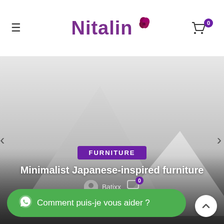Nitalin
[Figure (screenshot): E-commerce website screenshot showing the Nitalin brand header with hamburger menu, logo, and cart icon (badge: 0). Below is a hero image with abstract mountain/triangle shapes in grey gradient. Overlaid: FURNITURE badge, title 'Minimalist Japanese-inspired furniture', author 'Batixx' with comment icon (0). Bottom: green WhatsApp chat button 'Comment puis-je vous aider ?' and a scroll-to-top button.]